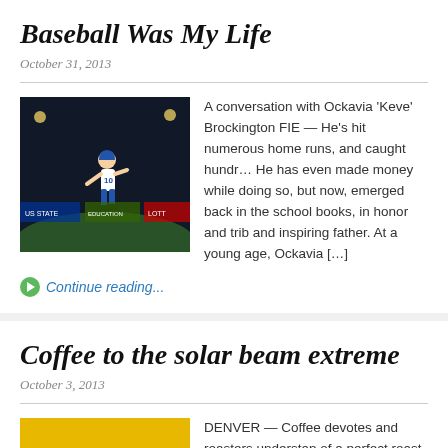Baseball Was My Life
October 31, 2013
[Figure (photo): Baseball player running on field at night game]
A conversation with Ockavia 'Keve' Brockington FIE — He's hit numerous home runs, and caught hundr… He has even made money while doing so, but now, emerged back in the school books, in honor and trib and inspiring father. At a young age, Ockavia […]
Continue reading...
Coffee to the solar beam extreme
October 3, 2013
[Figure (photo): Group of people standing in front of yellow coffee truck]
DENVER — Coffee devotes and roasters understan of a perfect roast. Some roasters do it for money. T those who do it for passion. Owner Nathan Stern, 2 operator Chris Bass, 25, of Solar Roast on the Roa